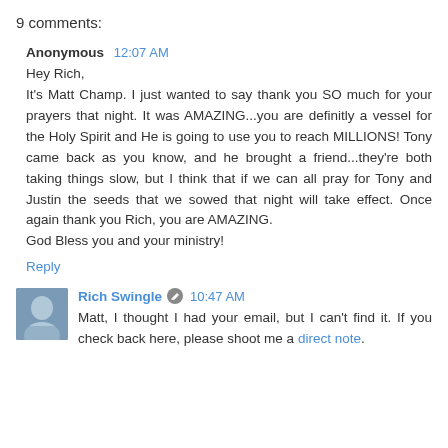9 comments:
Anonymous  12:07 AM
Hey Rich,
It's Matt Champ. I just wanted to say thank you SO much for your prayers that night. It was AMAZING...you are definitly a vessel for the Holy Spirit and He is going to use you to reach MILLIONS! Tony came back as you know, and he brought a friend...they're both taking things slow, but I think that if we can all pray for Tony and Justin the seeds that we sowed that night will take effect. Once again thank you Rich, you are AMAZING.
God Bless you and your ministry!
Reply
Rich Swingle  10:47 AM
Matt, I thought I had your email, but I can't find it. If you check back here, please shoot me a direct note.